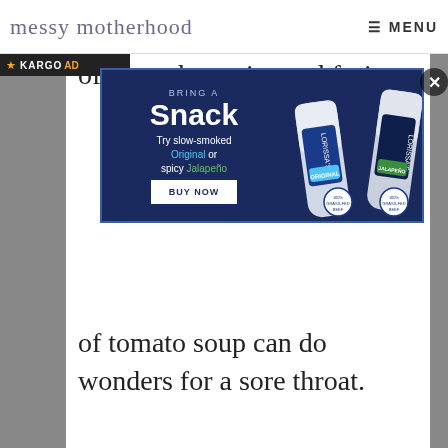messy motherhood — MENU
of pureed veggies and fruits
[Figure (photo): Advertisement for Lorissa's Kitchen snack products: 'BRING A Snack – Try slow-smoked Original or spicy Jalapeño – BUY NOW' with product tube images on dark blue background]
of tomato soup can do wonders for a sore throat.